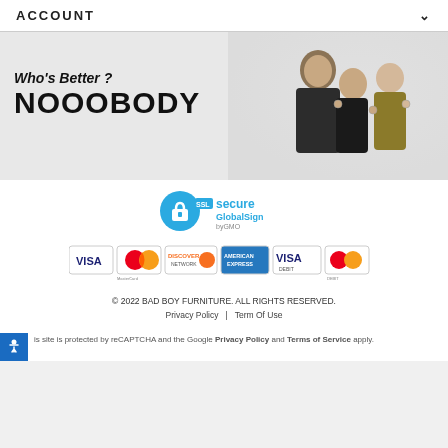ACCOUNT
[Figure (photo): Promotional banner for Bad Boy Furniture showing three smiling people making OK gestures. Text reads 'Who's Better? NOOOBODY']
[Figure (logo): SSL Secure GlobalSign by GMO badge]
[Figure (logo): Payment method icons: VISA, MasterCard, DISCOVER NETWORK, AMERICAN EXPRESS, VISA DEBIT, MasterCard DEBIT]
© 2022 BAD BOY FURNITURE. ALL RIGHTS RESERVED.
Privacy Policy  |  Term Of Use
is site is protected by reCAPTCHA and the Google Privacy Policy and Terms of Service apply.